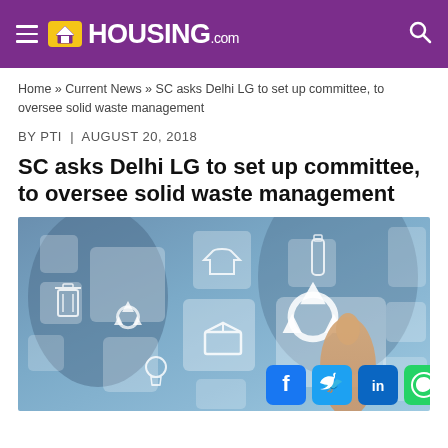HOUSING.com
Home » Current News » SC asks Delhi LG to set up committee, to oversee solid waste management
BY PTI | AUGUST 20, 2018
SC asks Delhi LG to set up committee, to oversee solid waste management
[Figure (photo): Person touching a digital touchscreen interface showing recycling and waste management icons including recycling symbol, trash, boxes, lightbulb, and various recyclable item icons on a blurred blue background]